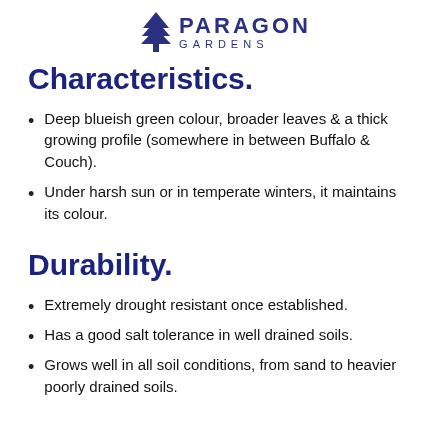[Figure (logo): Paragon Gardens logo with tree icon and text]
Characteristics.
Deep blueish green colour, broader leaves & a thick growing profile (somewhere in between Buffalo & Couch).
Under harsh sun or in temperate winters, it maintains its colour.
Durability.
Extremely drought resistant once established.
Has a good salt tolerance in well drained soils.
Grows well in all soil conditions, from sand to heavier poorly drained soils.